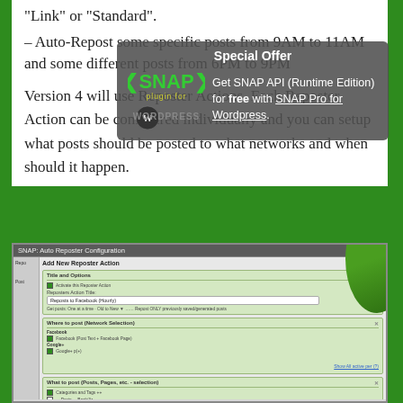"Link" or "Standard".
– Auto-Repost some specific posts from 9AM to 11AM and some different posts from 6PM to 9PM
[Figure (infographic): Special Offer popup overlay with SNAP plugin logo and text: 'Get SNAP API (Runtime Edition) for free with SNAP Pro for Wordpress.']
Version 4 will use Reposter Actions. Each Reposter Action can be configured individually and you can setup what posts should be posted to what networks and when should it happen.
[Figure (screenshot): Screenshot of SNAP: Auto Reposter Configuration panel showing 'Add New Reposter Action' with sections: Title and Options (with field 'Reposts to Facebook (Hourly)'), Where to post (Network Selection) showing Facebook and Google+ options, and What to post (Posts, Pages, etc. - selection) with categories and tags checkbox.]